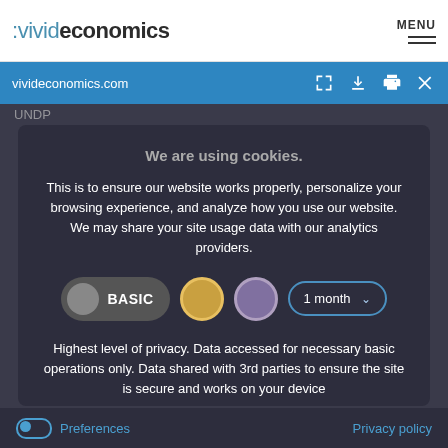[Figure (screenshot): Vivid Economics website header with logo and MENU hamburger]
vivideconomics.com
UNDP
We are using cookies.
This is to ensure our website works properly, personalize your browsing experience, and analyze how you use our website. We may share your site usage data with our analytics providers.
[Figure (infographic): Cookie consent options: BASIC toggle, gold circle, purple circle, 1 month dropdown]
Highest level of privacy. Data accessed for necessary basic operations only. Data shared with 3rd parties to ensure the site is secure and works on your device
Save my preferences
Preferences   Privacy policy